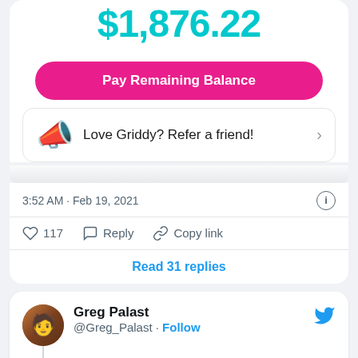[Figure (screenshot): Griddy app screenshot showing $1,876.22 balance with Pay Remaining Balance button and Love Griddy? Refer a friend! banner]
3:52 AM · Feb 19, 2021
117  Reply  Copy link
Read 31 replies
Greg Palast @Greg_Palast · Follow
For 100 years, electric prices were